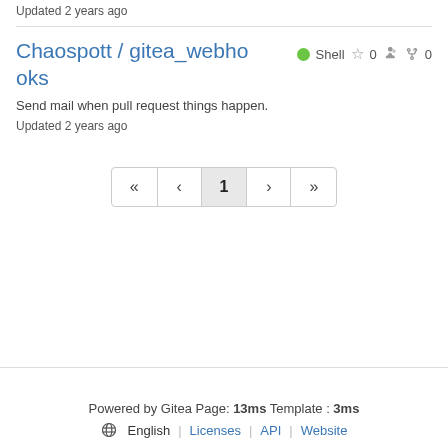Updated 2 years ago
Chaospott / gitea_webhooks
Shell ☆ 0  0
Send mail when pull request things happen.
Updated 2 years ago
«  <  1  >  »
Powered by Gitea Page: 13ms Template : 3ms
⊕ English | Licenses | API | Website